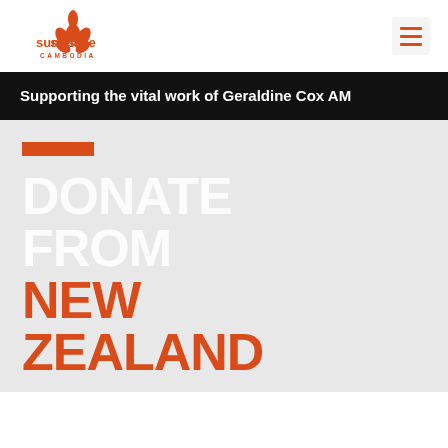[Figure (logo): Sunrise Cambodia logo with orange lotus flower and text]
[Figure (other): Hamburger menu icon with three orange horizontal lines on light gray background]
Supporting the vital work of Geraldine Cox AM
DONATE FROM NEW ZEALAND
We are proud to be a partner for Project J1075N Sunrise Cambodia with Global Development Group (ABN 57